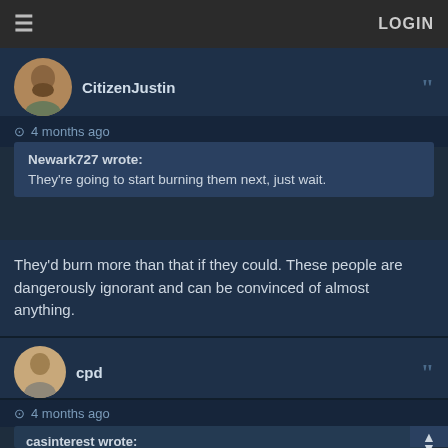≡   LOGIN
CitizenJustin
4 months ago
Newark727 wrote:
They're going to start burning them next, just wait.
They'd burn more than that if they could. These people are dangerously ignorant and can be convinced of almost anything.
cpd
4 months ago
casinterest wrote:
  MaverickM11 wrote:
    casinterest wrote: